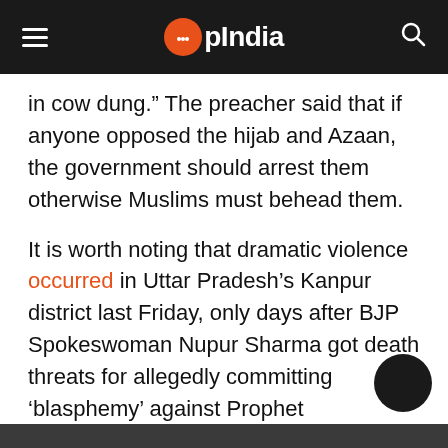OpIndia
in cow dung.” The preacher said that if anyone opposed the hijab and Azaan, the government should arrest them otherwise Muslims must behead them.
It is worth noting that dramatic violence occurred in Uttar Pradesh’s Kanpur district last Friday, only days after BJP Spokeswoman Nupur Sharma got death threats for allegedly committing ‘blasphemy’ against Prophet Muhammad. The Muslim community in the neighbourhood had called for a shutdown to oppose Sharma, and the demonstration turned violent with stone-pelting after Friday prayers.